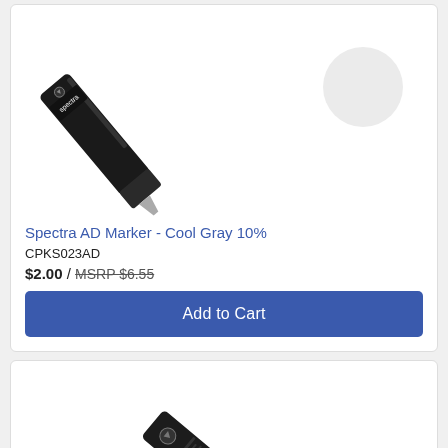[Figure (photo): Spectra AD Marker - Cool Gray 10% product image showing a black marker angled diagonally with a light gray color swatch circle]
Spectra AD Marker - Cool Gray 10%
CPKS023AD
$2.00 / MSRP $6.55
Add to Cart
[Figure (photo): Second product marker image showing a black marker with purple/lavender tip angled diagonally, partially visible]